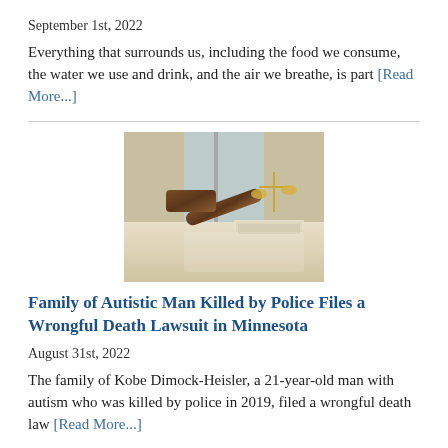September 1st, 2022
Everything that surrounds us, including the food we consume, the water we use and drink, and the air we breathe, is part [Read More...]
[Figure (photo): A wooden gavel on a desk with scales of justice and documents in the background, representing legal proceedings.]
Family of Autistic Man Killed by Police Files a Wrongful Death Lawsuit in Minnesota
August 31st, 2022
The family of Kobe Dimock-Heisler, a 21-year-old man with autism who was killed by police in 2019, filed a wrongful death law [Read More...]
[Figure (photo): A Philips branded item or product packaging, partially visible at the bottom of the page.]